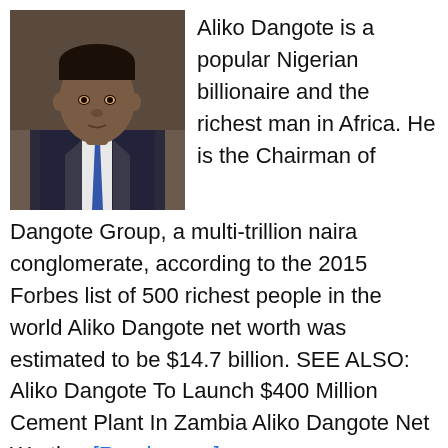[Figure (photo): Portrait photo of Aliko Dangote, a man in a dark pinstripe suit with a blue tie, looking directly at the camera.]
Aliko Dangote is a popular Nigerian billionaire and the richest man in Africa. He is the Chairman of Dangote Group, a multi-trillion naira conglomerate, according to the 2015 Forbes list of 500 richest people in the world Aliko Dangote net worth was estimated to be $14.7 billion. SEE ALSO: Aliko Dangote To Launch $400 Million Cement Plant In Zambia Aliko Dangote Net Worth [Read more ]